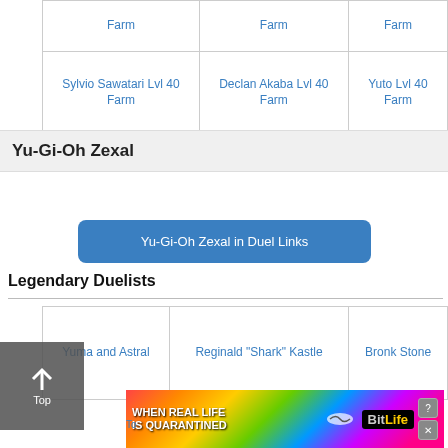|  |  |  |
| --- | --- | --- |
| Farm | Farm | Farm |
| Sylvio Sawatari Lvl 40 Farm | Declan Akaba Lvl 40 Farm | Yuto Lvl 40 Farm |
Yu-Gi-Oh Zexal
Yu-Gi-Oh Zexal in Duel Links
Legendary Duelists
|  |  |  |
| --- | --- | --- |
| Yuma and Astral | Reginald "Shark" Kastle | Bronk Stone |